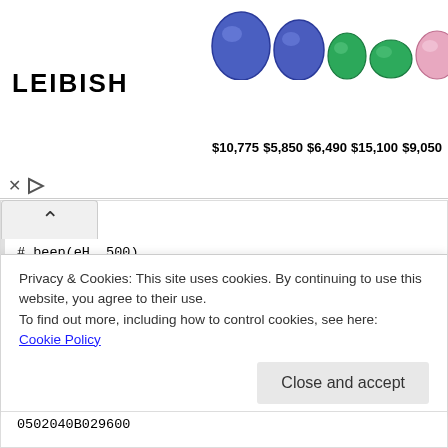[Figure (other): Leibish advertisement banner with gemstones (two blue sapphires, two emeralds, pink diamond, brown diamond) and prices: $10,775, $5,850, $6,490, $15,100, $9,050]
# beep(eH, 500)
gatttool -i hci0 -b A0:E6:F8:1E:58:57 --char-write-req -a 0x003d -n 0502049302F401
sleep 0.5

# beep(fH, 350)
gatttool -i hci0 -b A0:E6:F8:1E:58:57 --char-write-req -a 0x003d -n
Privacy & Cookies: This site uses cookies. By continuing to use this website, you agree to their use.
To find out more, including how to control cookies, see here: Cookie Policy
0502040B029600